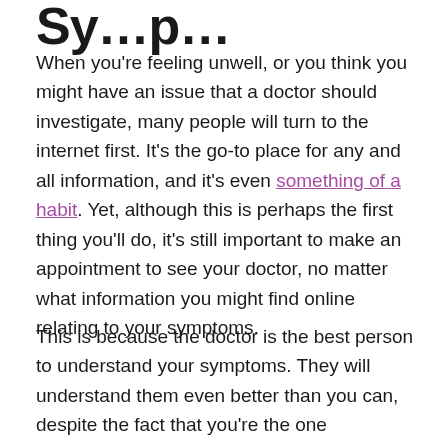Symptoms
When you're feeling unwell, or you think you might have an issue that a doctor should investigate, many people will turn to the internet first. It's the go-to place for any and all information, and it's even something of a habit. Yet, although this is perhaps the first thing you'll do, it's still important to make an appointment to see your doctor, no matter what information you might find online relating to your symptoms.
This is because the doctor is the best person to understand your symptoms. They will understand them even better than you can, despite the fact that you're the one experiencing them. A layman trying to describe their symptoms and type those